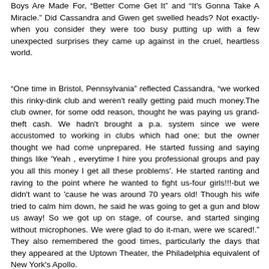Boys Are Made For,  Better Come Get It  and  It's Gonna Take A Miracle." Did Cassandra and Gwen get swelled heads? Not exactly-when you consider they were too busy putting up with a few unexpected surprises they came up against in the cruel, heartless world.
"One time in Bristol, Pennsylvania" reflected Cassandra, "we worked this rinky-dink club and weren't really getting paid much money.The club owner, for some odd reason, thought he was paying us grand-theft cash. We hadn't brought a p.a. system since we were accustomed to working in clubs which had one; but the owner thought we had come unprepared. He started fussing and saying things like 'Yeah , everytime I hire you professional groups and pay you all this money I get all these problems'. He started ranting and raving to the point where he wanted to fight us-four girls!!!-but we didn't want to 'cause he was around 70 years old! Though his wife tried to calm him down, he said he was going to get a gun and blow us away! So we got up on stage, of course, and started singing without microphones. We were glad to do it-man, were we scared!." They also remembered the good times, particularly the days that they appeared at the Uptown Theater, the Philadelphia equivalent of New York's Apollo.